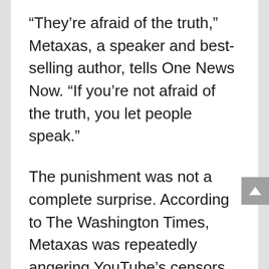“They’re afraid of the truth,” Metaxas, a speaker and best-selling author, tells One News Now. “If you’re not afraid of the truth, you let people speak.”
The punishment was not a complete surprise. According to The Washington Times, Metaxas was repeatedly angering YouTube’s censors over several months by discussing election fraud in the 2020 election. That earned the show three “strikes” with only one more to go, a producer told the Times, and an April interview with controversial vaccine critic Naomi Wolf counted as the fourth and